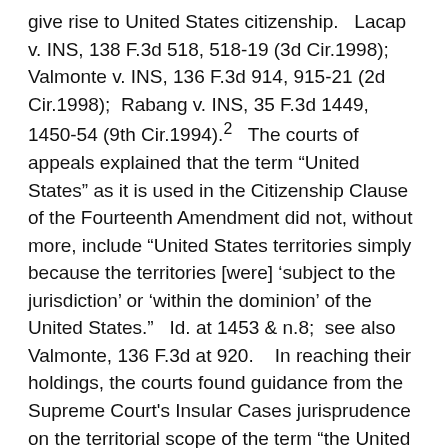give rise to United States citizenship.   Lacap v. INS, 138 F.3d 518, 518-19 (3d Cir.1998);  Valmonte v. INS, 136 F.3d 914, 915-21 (2d Cir.1998);  Rabang v. INS, 35 F.3d 1449, 1450-54 (9th Cir.1994).2   The courts of appeals explained that the term “United States” as it is used in the Citizenship Clause of the Fourteenth Amendment did not, without more, include “United States territories simply because the territories [were] ‘subject to the jurisdiction’ or ‘within the dominion’ of the United States.”   Id. at 1453 & n.8;  see also Valmonte, 136 F.3d at 920.    In reaching their holdings, the courts found guidance from the Supreme Court's Insular Cases jurisprudence on the territorial scope of the term “the United States” as used in the Citizenship Clause of the Fourteenth Amendment.   Valmonte, 136 F.3d at 918-19;  Rabang, 35 F.3d at 1452.    The Insular Cases were a series of Supreme Court decisions that dealt with various challenges to duties on shipments from Puerto Rico to the United States mainland.   Rabang, 35 F.3d at 1452;  Valmonte, 136 F.3d at